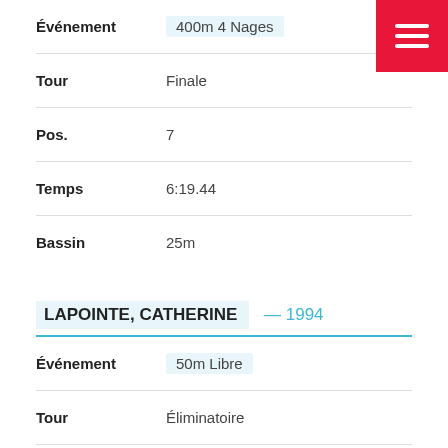| Champ | Valeur |
| --- | --- |
| Événement | 400m 4 Nages |
| Tour | Finale |
| Pos. | 7 |
| Temps | 6:19.44 |
| Bassin | 25m |
LAPOINTE, CATHERINE — 1994
| Champ | Valeur |
| --- | --- |
| Événement | 50m Libre |
| Tour | Éliminatoire |
| Pos. | 16 |